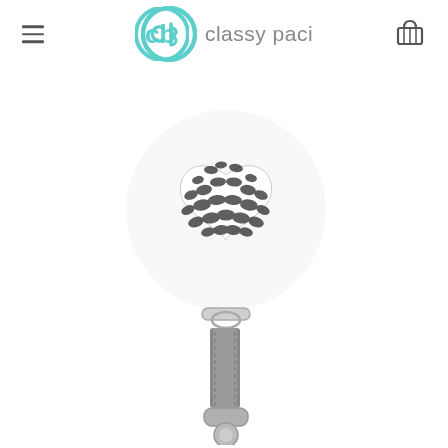classy paci
[Figure (photo): A pacifier clip with a heart-shaped bead featuring a black and white crocodile/snake skin pattern, attached to a grey leather clip mechanism with a metal ring]